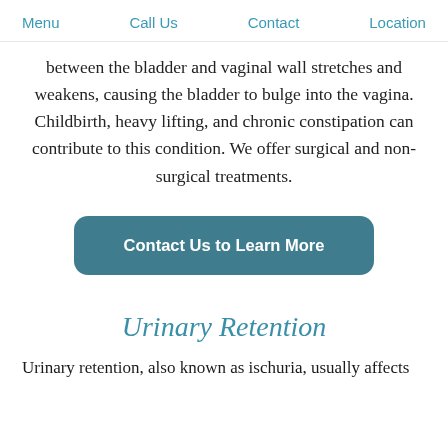Menu   Call Us   Contact   Location
between the bladder and vaginal wall stretches and weakens, causing the bladder to bulge into the vagina. Childbirth, heavy lifting, and chronic constipation can contribute to this condition. We offer surgical and non-surgical treatments.
[Figure (other): Call-to-action button labeled 'Contact Us to Learn More' with rounded corners and teal/dark blue-grey background]
Urinary Retention
Urinary retention, also known as ischuria, usually affects